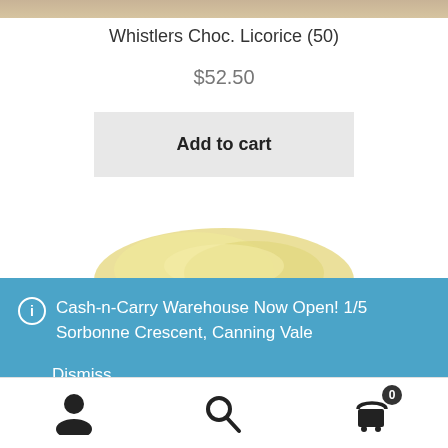[Figure (photo): Product image strip at top showing chocolate licorice packaging]
Whistlers Choc. Licorice (50)
$52.50
Add to cart
[Figure (photo): Partially visible yellow/white candy product at the bottom of the product area]
Cash-n-Carry Warehouse Now Open! 1/5 Sorbonne Crescent, Canning Vale
Dismiss